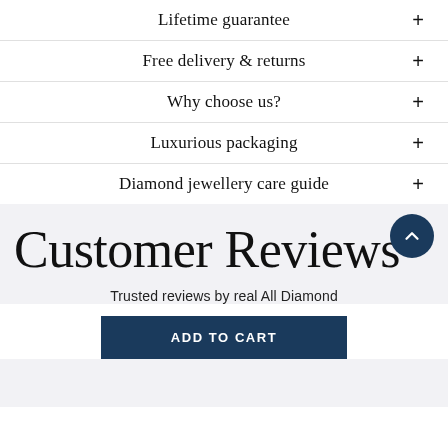Lifetime guarantee +
Free delivery & returns +
Why choose us? +
Luxurious packaging +
Diamond jewellery care guide +
Customer Reviews
Trusted reviews by real All Diamond
ADD TO CART